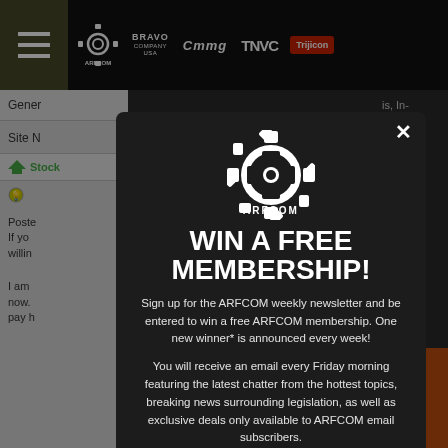[Figure (screenshot): ARFCOM website navigation bar with hamburger menu, ARFCOM logo, Bravo Company USA logo, CMMG logo, TNVC logo, and Trijicon logo]
[Figure (screenshot): Partial website sidebar showing General and Site N sections]
[Figure (infographic): ARFCOM popup modal with gear logo, WIN A FREE MEMBERSHIP headline, newsletter signup description, and email input field. Text: Sign up for the ARFCOM weekly newsletter and be entered to win a free ARFCOM membership. One new winner* is announced every week! You will receive an email every Friday morning featuring the latest chatter from the hottest topics, breaking news surrounding legislation, as well as exclusive deals only available to ARFCOM email subscribers.]